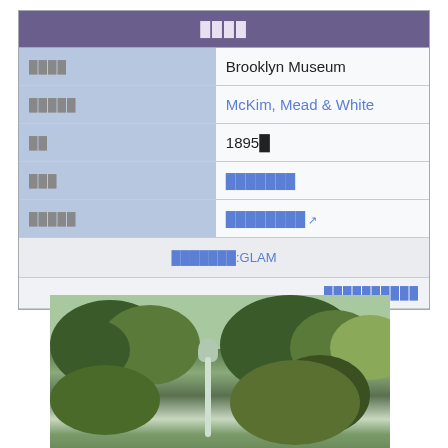| ████ | Brooklyn Museum |
| █████ | McKim, Mead & White |
| ██ | 1895█ |
| ███ | ███████ |
| █████ | █████████ ↗ |
| ███████:GLAM |  |
|  | ██████████ |
[Figure (photo): Outdoor photo of a park scene with trees and a decorative lamp post or column, likely near the Brooklyn Museum grounds.]